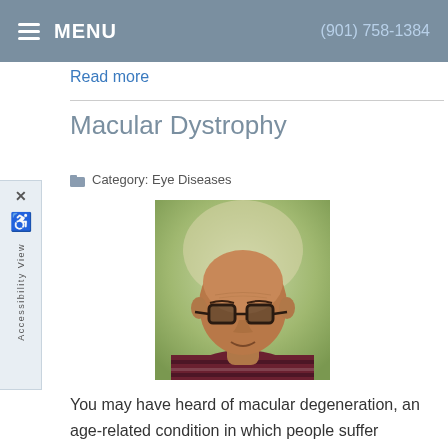MENU  (901) 758-1384
Read more
Macular Dystrophy
Category: Eye Diseases
[Figure (photo): Portrait photo of an older bald man wearing glasses and a dark striped polo shirt, outdoors with blurred green background]
You may have heard of macular degeneration, an age-related condition in which people suffer permanent vision loss due to damage in a part of the retina called macula. But you may not be so familiar with a similar macular condition that also causes